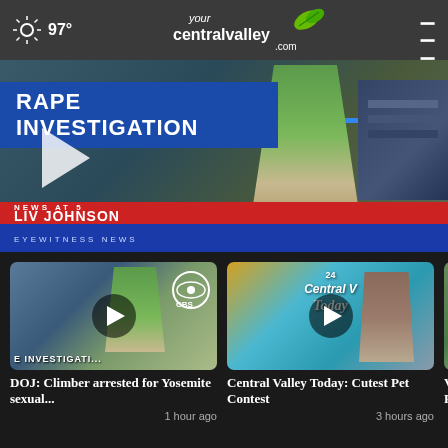97° yourcentralvalley.com
[Figure (screenshot): News broadcast screenshot showing 'RAPE INVESTIGATION' banner with anchor Liv Johnson, Eyewitness News, News at 5]
[Figure (screenshot): Video thumbnail: DOJ Climber arrested for Yosemite sexual investigation story, CBS logo visible]
DOJ: Climber arrested for Yosemite sexual...
1 hour ago
[Figure (screenshot): Video thumbnail: Central Valley Today Cutest Pet Contest]
Central Valley Today: Cutest Pet Contest
3 hours ago
[Figure (screenshot): Partial video thumbnail: Violent crime story in Fresno]
Violen
Fresn
More Videos ›